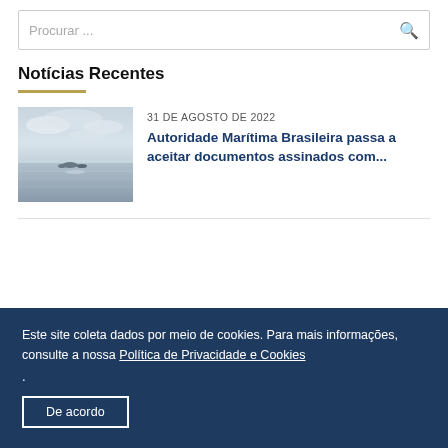Procurar ...
Notícias Recentes
[Figure (photo): Ocean photograph showing small islands or rocks on a calm sea under a cloudy sky]
31 DE AGOSTO DE 2022
Autoridade Marítima Brasileira passa a aceitar documentos assinados com...
Este site coleta dados por meio de cookies. Para mais informações, consulte a nossa Política de Privacidade e Cookies .
De acordo